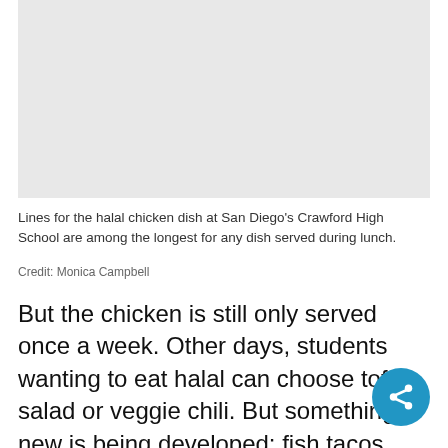[Figure (photo): Light gray placeholder rectangle representing an image of the halal chicken dish line at Crawford High School]
Lines for the halal chicken dish at San Diego's Crawford High School are among the longest for any dish served during lunch.
Credit:  Monica Campbell
But the chicken is still only served once a week. Other days, students wanting to eat halal can choose tofu salad or veggie chili. But something new is being developed: fish tacos. Also hala… very San Diego).